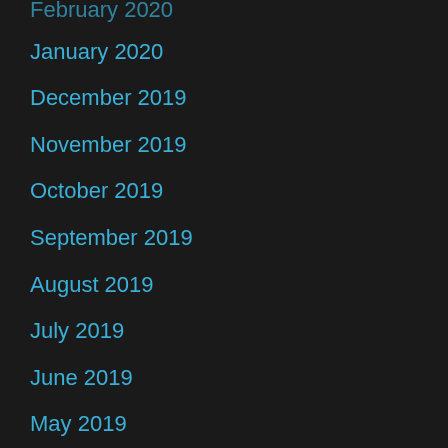February 2020
January 2020
December 2019
November 2019
October 2019
September 2019
August 2019
July 2019
June 2019
May 2019
April 2019
March 2019
February 2019
January 2019